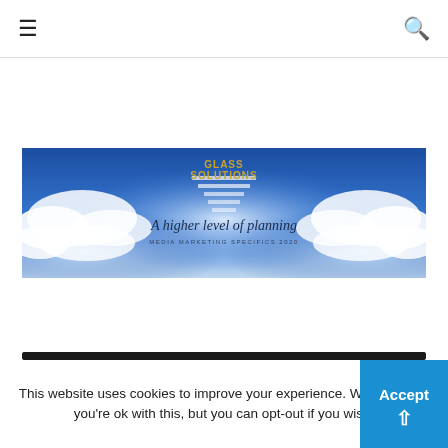☰ [menu] | [search icon]
Subscribe
[Figure (illustration): Banner advertisement with blue sky and clouds background, text reading 'GLASS SOLUTIONS', 'A higher level of planning', and 'MEDIA MARKETING SPECIFICS 2020']
This website uses cookies to improve your experience. We'll assume you're ok with this, but you can opt-out if you wish.  Accept